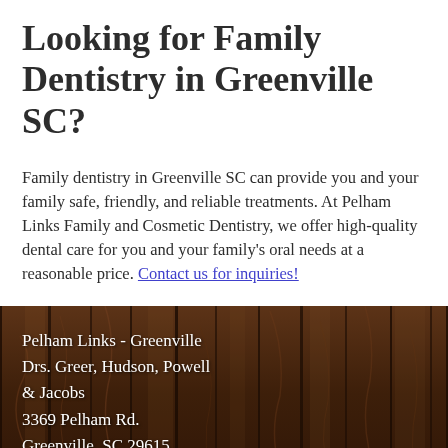Looking for Family Dentistry in Greenville SC?
Family dentistry in Greenville SC can provide you and your family safe, friendly, and reliable treatments. At Pelham Links Family and Cosmetic Dentistry, we offer high-quality dental care for you and your family's oral needs at a reasonable price. Contact us for inquiries!
[Figure (photo): Wood panel background with white text contact information for Pelham Links - Greenville dental practice]
Pelham Links - Greenville
Drs. Greer, Hudson, Powell & Jacobs
3369 Pelham Rd.
Greenville, SC 29615
Get Directions
Phone: 864-297-6365
Fax: 864-297-7080
greenvilleoffice@pelhamlinks.com